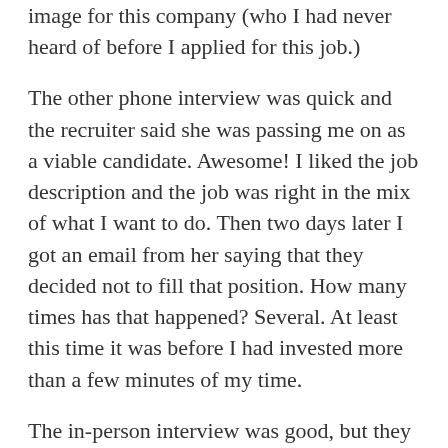image for this company (who I had never heard of before I applied for this job.)
The other phone interview was quick and the recruiter said she was passing me on as a viable candidate. Awesome! I liked the job description and the job was right in the mix of what I want to do. Then two days later I got an email from her saying that they decided not to fill that position. How many times has that happened? Several. At least this time it was before I had invested more than a few minutes of my time.
The in-person interview was good, but they have six more people they are interviewing. They didn't say how many they had seen before me either, so there is quite a bit of competition. It will probably be two weeks before I hear from them. What I liked about them.... were honest and